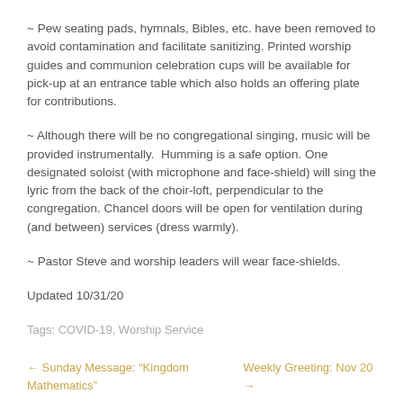~ Pew seating pads, hymnals, Bibles, etc. have been removed to avoid contamination and facilitate sanitizing. Printed worship guides and communion celebration cups will be available for pick-up at an entrance table which also holds an offering plate for contributions.
~ Although there will be no congregational singing, music will be provided instrumentally.  Humming is a safe option. One designated soloist (with microphone and face-shield) will sing the lyric from the back of the choir-loft, perpendicular to the congregation. Chancel doors will be open for ventilation during (and between) services (dress warmly).
~ Pastor Steve and worship leaders will wear face-shields.
Updated 10/31/20
Tags: COVID-19, Worship Service
← Sunday Message: “Kingdom Mathematics”
Weekly Greeting: Nov 20 →